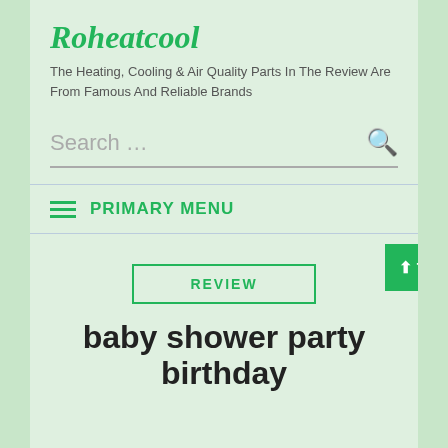Roheatcool
The Heating, Cooling & Air Quality Parts In The Review Are From Famous And Reliable Brands
Search …
PRIMARY MENU
REVIEW
baby shower party birthday